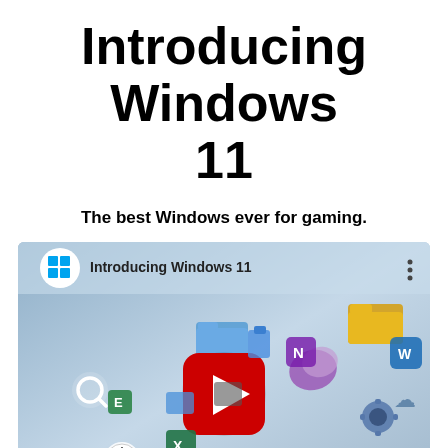Introducing Windows 11
The best Windows ever for gaming.
[Figure (screenshot): YouTube video thumbnail/embed for 'Introducing Windows 11' showing floating Windows app icons on a blue-grey gradient background with a red YouTube play button in the center and the Windows logo icon in the top left.]